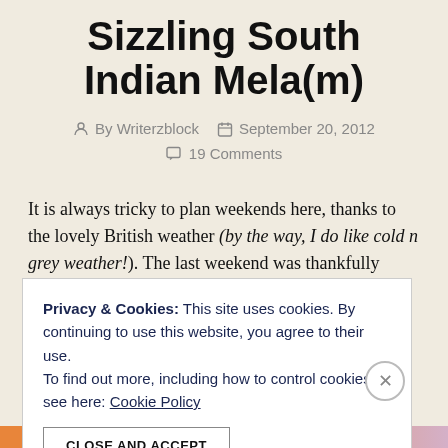Sizzling South Indian Mela(m)
By Writerzblock   September 20, 2012
19 Comments
It is always tricky to plan weekends here, thanks to the lovely British weather (by the way, I do like cold n grey weather!). The last weekend was thankfully sunny
Privacy & Cookies: This site uses cookies. By continuing to use this website, you agree to their use.
To find out more, including how to control cookies, see here: Cookie Policy
CLOSE AND ACCEPT